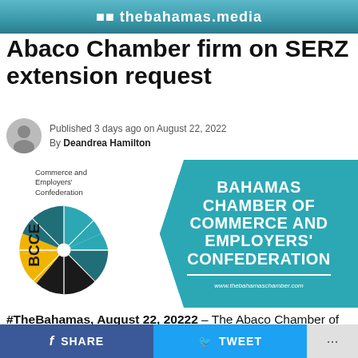thebahamas.media
Abaco Chamber firm on SERZ extension request
Published 3 days ago on August 22, 2022
By Deandrea Hamilton
[Figure (logo): Bahamas Chamber of Commerce and Employers' Confederation logo with teal background and BCCE emblem]
#TheBahamas, August 22, 20222 – The Abaco Chamber of Commerce is stern in its view that the Hurricane Dorian-affected
SHARE  TWEET  ...